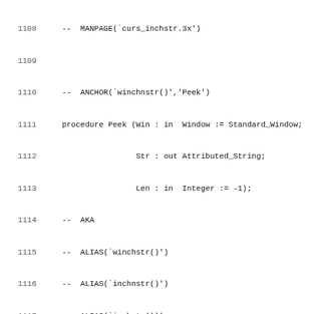Code listing lines 1108-1139, Ada source code with procedure declarations for Peek and Get window functions including ANCHOR, ALIAS, MANPAGE comments
1108    --  MANPAGE(`curs_inchstr.3x')
1109
1110    --  ANCHOR(`winchnstr()','Peek')
1111    procedure Peek (Win : in  Window := Standard_Window;
1112                    Str : out Attributed_String;
1113                    Len : in  Integer := -1);
1114    --  AKA
1115    --  ALIAS(`winchstr()')
1116    --  ALIAS(`inchnstr()')
1117    --  ALIAS(`inchstr()')
1118
1119    --  ANCHOR(`mvwinchnstr()','Peek')
1120    procedure Peek (Win    : in  Window := Standard_Wind
1121                    Line   : in  Line_Position;
1122                    Column : in  Column_Position;
1123                    Str    : out Attributed_String;
1124                    Len    : in  Integer := -1);
1125    --  AKA
1126    --  ALIAS(`mvwinchstr()')
1127    --  ALIAS(`mvinchnstr()')
1128    --  ALIAS(`mvinchstr()')
1129    --  We don't inline the Peek procedures
1130
1131    --  MANPAGE(`curs_getstr.3x')
1132
1133    --  ANCHOR(`wgetnstr()','Get')
1134    procedure Get (Win : in  Window := Standard_Window;
1135                   Str : out String;
1136                   Len : in  Integer := -1);
1137    --  AKA
1138    --  ALIAS(`wgetstr()')
1139    --  ALIAS(`getnstr()')